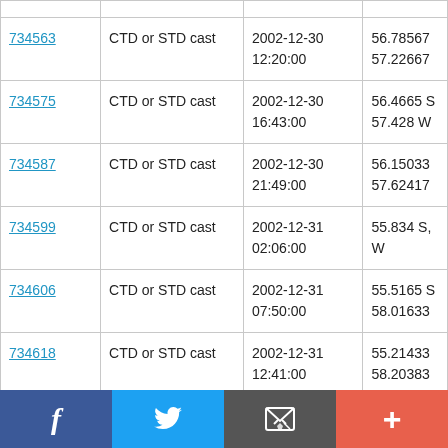| ID | Type | Date/Time | Location |
| --- | --- | --- | --- |
| 734563 | CTD or STD cast | 2002-12-30
12:20:00 | 56.78567
57.22667 |
| 734575 | CTD or STD cast | 2002-12-30
16:43:00 | 56.4665 S
57.428 W |
| 734587 | CTD or STD cast | 2002-12-30
21:49:00 | 56.15033
57.62417 |
| 734599 | CTD or STD cast | 2002-12-31
02:06:00 | 55.834 S,
W |
| 734606 | CTD or STD cast | 2002-12-31
07:50:00 | 55.5165 S
58.01633 |
| 734618 | CTD or STD cast | 2002-12-31
12:41:00 | 55.21433
58.20383 |
| 734631 | CTD or STD cast | 2002-12-31 | 55.171 S, 5 |